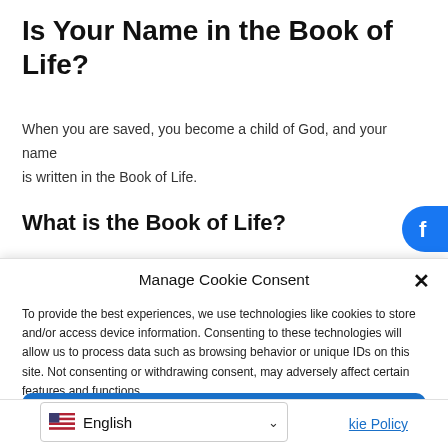Is Your Name in the Book of Life?
When you are saved, you become a child of God, and your name is written in the Book of Life.
What is the Book of Life?
Manage Cookie Consent
To provide the best experiences, we use technologies like cookies to store and/or access device information. Consenting to these technologies will allow us to process data such as browsing behavior or unique IDs on this site. Not consenting or withdrawing consent, may adversely affect certain features and functions.
Accept
English
kie Policy